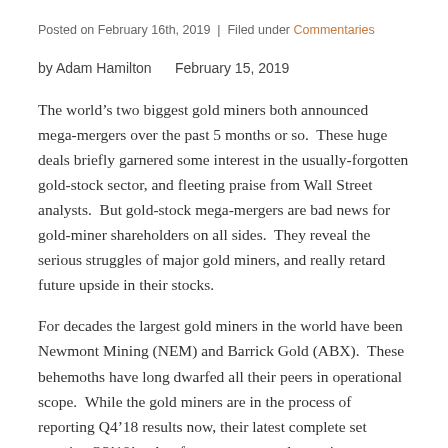Posted on February 16th, 2019 | Filed under Commentaries
by Adam Hamilton     February 15, 2019
The world's two biggest gold miners both announced mega-mergers over the past 5 months or so.  These huge deals briefly garnered some interest in the usually-forgotten gold-stock sector, and fleeting praise from Wall Street analysts.  But gold-stock mega-mergers are bad news for gold-miner shareholders on all sides.  They reveal the serious struggles of major gold miners, and really retard future upside in their stocks.
For decades the largest gold miners in the world have been Newmont Mining (NEM) and Barrick Gold (ABX).  These behemoths have long dwarfed all their peers in operational scope.  While the gold miners are in the process of reporting Q4'18 results now, their latest complete set remains Q3'18's.  As after every quarterly earnings season, I analyzed them in